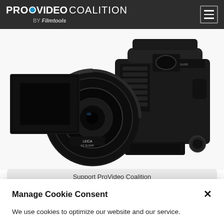PROVIDEO COALITION BY Filmtools
[Figure (photo): A Panasonic professional video camera with a Leica lens and matte box, shown in close-up against a white background.]
Support ProVideo Coalition
Manage Cookie Consent
We use cookies to optimize our website and our service.
Accept